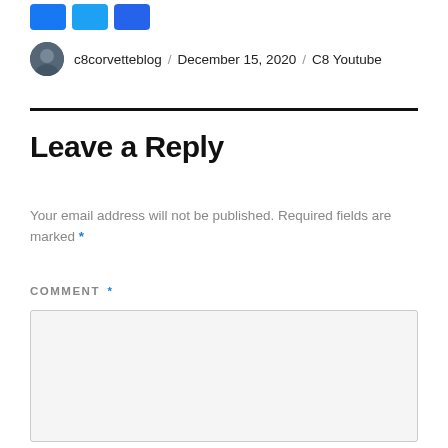[Figure (other): Three blue social sharing buttons (Facebook, Twitter, Share)]
c8corvetteblog / December 15, 2020 / C8 Youtube
Leave a Reply
Your email address will not be published. Required fields are marked *
COMMENT *